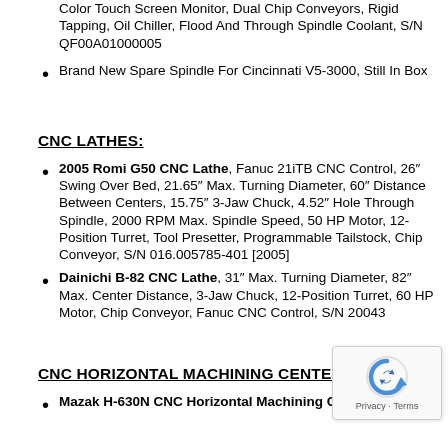Color Touch Screen Monitor, Dual Chip Conveyors, Rigid Tapping, Oil Chiller, Flood And Through Spindle Coolant, S/N QF00A01000005
Brand New Spare Spindle For Cincinnati V5-3000, Still In Box
CNC LATHES:
2005 Romi G50 CNC Lathe, Fanuc 21iTB CNC Control, 26″ Swing Over Bed, 21.65″ Max. Turning Diameter, 60″ Distance Between Centers, 15.75″ 3-Jaw Chuck, 4.52″ Hole Through Spindle, 2000 RPM Max. Spindle Speed, 50 HP Motor, 12-Position Turret, Tool Presetter, Programmable Tailstock, Chip Conveyor, S/N 016.005785-401 [2005]
Dainichi B-82 CNC Lathe, 31″ Max. Turning Diameter, 82″ Max. Center Distance, 3-Jaw Chuck, 12-Position Turret, 60 HP Motor, Chip Conveyor, Fanuc CNC Control, S/N 20043
CNC HORIZONTAL MACHINING CENTER:
Mazak H-630N CNC Horizontal Machining Center, Travels: